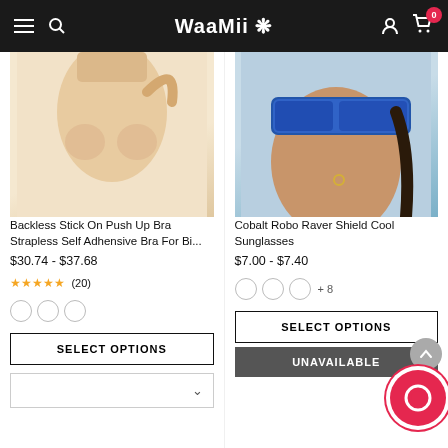Waamii
[Figure (photo): Woman wearing invisible/strapless push-up bra, seen from torso/shoulder, light skin, light background]
Backless Stick On Push Up Bra Strapless Self Adhensive Bra For Bi...
$30.74 - $37.68
★★★★★ (20)
SELECT OPTIONS
[Figure (photo): Woman wearing futuristic blue visor shield sunglasses, blue top, braided hair]
Cobalt Robo Raver Shield Cool Sunglasses
$7.00 - $7.40
+ 8
SELECT OPTIONS
UNAVAILABLE